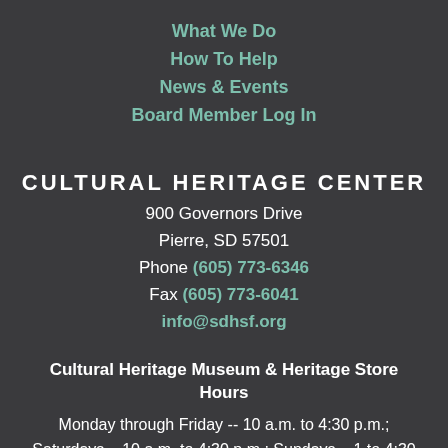What We Do
How To Help
News & Events
Board Member Log In
CULTURAL HERITAGE CENTER
900 Governors Drive
Pierre, SD 57501
Phone (605) 773-6346
Fax (605) 773-6041
info@sdhsf.org
Cultural Heritage Museum & Heritage Store Hours
Monday through Friday -- 10 a.m. to 4:30 p.m.; Saturdays – 10 a.m. to 4:30 p.m.; Sundays – 1 to 4:30 p.m.